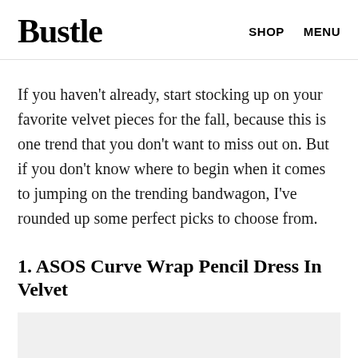Bustle  SHOP  MENU
If you haven't already, start stocking up on your favorite velvet pieces for the fall, because this is one trend that you don't want to miss out on. But if you don't know where to begin when it comes to jumping on the trending bandwagon, I've rounded up some perfect picks to choose from.
1. ASOS Curve Wrap Pencil Dress In Velvet
[Figure (photo): Image placeholder for product photo]